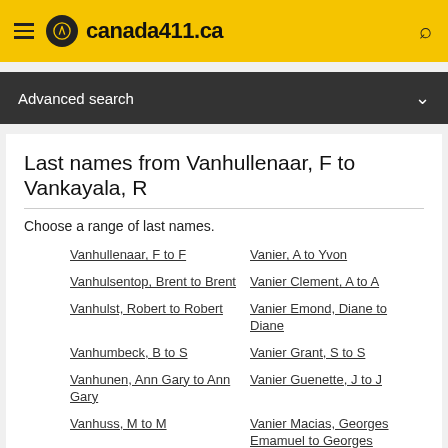canada411.ca
Advanced search
Last names from Vanhullenaar, F to Vankayala, R
Choose a range of last names.
Vanhullenaar, F to F
Vanier, A to Yvon
Vanhulsentop, Brent to Brent
Vanier Clement, A to A
Vanhulst, Robert to Robert
Vanier Emond, Diane to Diane
Vanhumbeck, B to S
Vanier Grant, S to S
Vanhunen, Ann Gary to Ann Gary
Vanier Guenette, J to J
Vanhuss, M to M
Vanier Macias, Georges Emamuel to Georges Emamuel
Vanhussen, G to W M
Vanhuuksloot, P to P